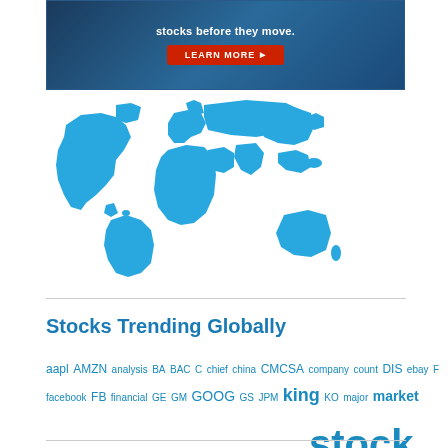[Figure (screenshot): Blue gradient advertisement banner with text 'stocks before they move.' and a red LEARN MORE button with arrow]
[Figure (illustration): Blue world map silhouette on white background]
Stocks Trending Globally
aapl AMZN analysis BA BAC C chief china CMCSA company count DIS ebay F facebook FB financial GE GM GOOG GS JPM king KO major market markets MCO MSFT nasdaq nflx PFE president spy stock street T TGT tsla twtr WFM WMT world year YHOO